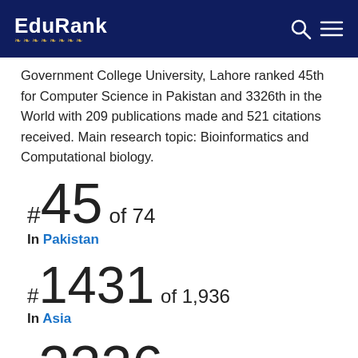EduRank
Government College University, Lahore ranked 45th for Computer Science in Pakistan and 3326th in the World with 209 publications made and 521 citations received. Main research topic: Bioinformatics and Computational biology.
#45 of 74
In Pakistan
#1431 of 1,936
In Asia
#3326 of 4,382